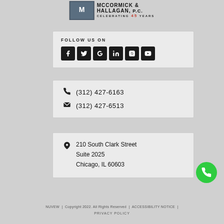[Figure (logo): McCormick & Hallagan, P.C. law firm logo with firm name and 'Celebrating 45 Years' tagline]
FOLLOW US ON
[Figure (infographic): Social media icons: Facebook, Twitter, Google, LinkedIn, Instagram, YouTube]
(312) 427-6163
(312) 427-6513
210 South Clark Street
Suite 2025
Chicago, IL 60603
NUVEW | Copyright 2022. All Rights Reserved | ACCESSIBILITY NOTICE |
PRIVACY POLICY